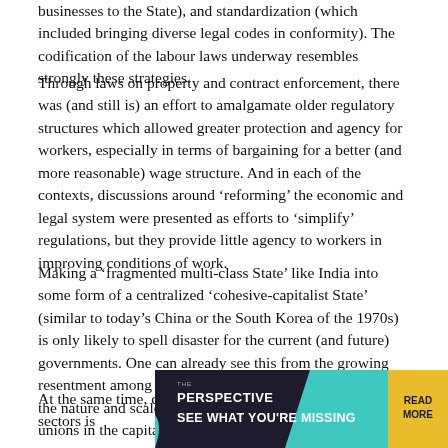businesses to the State), and standardization (which included bringing diverse legal codes in conformity). The codification of the labour laws underway resembles strongly these strategies.
Through laws on property and contract enforcement, there was (and still is) an effort to amalgamate older regulatory structures which allowed greater protection and agency for workers, especially in terms of bargaining for a better (and more reasonable) wage structure. And in each of the contexts, discussions around ‘reforming’ the economic and legal system were presented as efforts to ‘simplify’ regulations, but they provide little agency to workers in improving conditions of work.
Making a ‘fragmented multi-class State’ like India into some form of a centralized ‘cohesive-capitalist State’ (similar to today’s China or the South Korea of the 1970s) is only likely to spell disaster for the current (and future) governments. One can already see this from the growing resentment among workers and unions that is evident from the nature and scale of protests by labour and worker unions in the capital.
At the same time, current economic conditions across sectors is
[Figure (infographic): Advertisement banner for 'The Perspective' with tagline 'SEE WHAT YOU’RE MISSING' and a 'READ MORE' button in yellow on dark teal/navy background.]